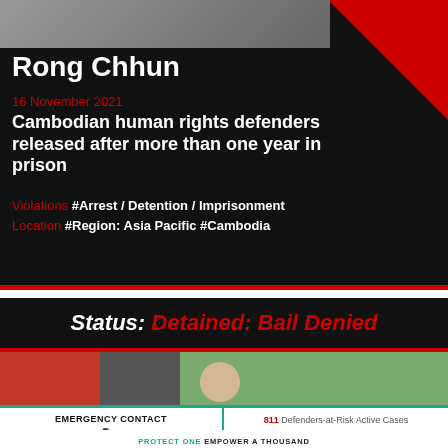Rong Chhun
16 November 2021
Cambodian human rights defenders released after more than one year in prison
Violations #Arrest / Detention / Imprisonment
Location #Region: Asia Pacific  #Cambodia
Status: Detained: Bail Denied
[Figure (photo): Outdoor scene with people and trees]
EMERGENCY CONTACT
811 Defenders-at-Risk Active Cases
PROTECT ONE EMPOWER A THOUSAND